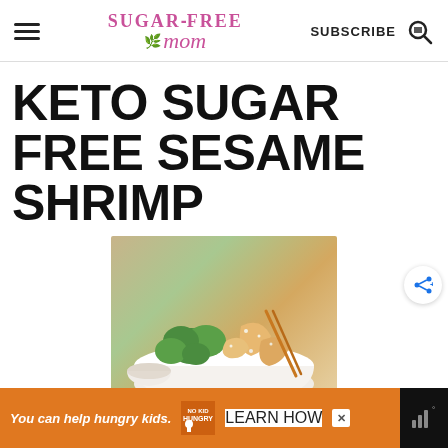Sugar-Free Mom — SUBSCRIBE
KETO SUGAR FREE SESAME SHRIMP
[Figure (photo): A white bowl filled with sesame shrimp and broccoli, garnished with sesame seeds, with chopsticks resting on top and a small dipping sauce bowl on the side.]
You can help hungry kids. NO KID HUNGRY LEARN HOW